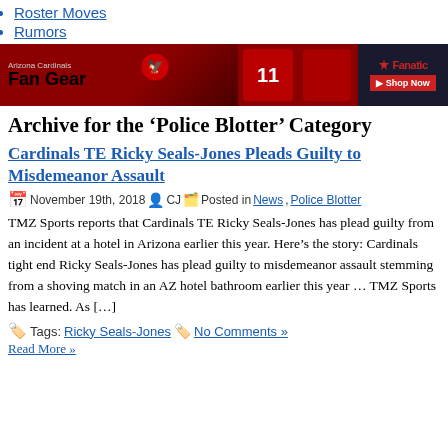Roster Moves
Rumors
[Figure (illustration): Arizona Cardinals Fan Gear banner advertisement with Fanatics logo and Shop Now button, showing Cardinals players in red jerseys]
Archive for the ‘Police Blotter’ Category
Cardinals TE Ricky Seals-Jones Pleads Guilty to Misdemeanor Assault
November 19th, 2018  CJ  Posted in News, Police Blotter
TMZ Sports reports that Cardinals TE Ricky Seals-Jones has plead guilty from an incident at a hotel in Arizona earlier this year. Here’s the story: Cardinals tight end Ricky Seals-Jones has plead guilty to misdemeanor assault stemming from a shoving match in an AZ hotel bathroom earlier this year … TMZ Sports has learned. As […]
Tags: Ricky Seals-Jones  No Comments »
Read More »